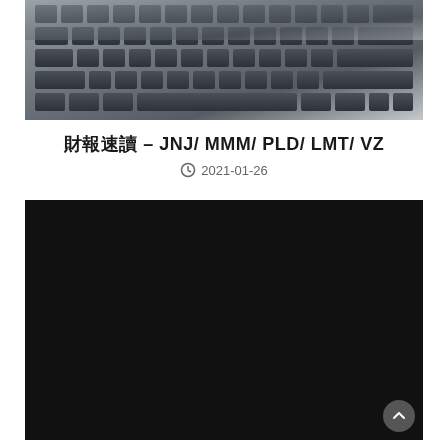[Figure (photo): Close-up photo of a dark computer keyboard with keys visible, grayscale/blue-toned]
財報速讀 – JNJ/ MMM/ PLD/ LMT/ VZ
2021-01-26
[Figure (photo): Large dark/black image, appears to be a dark background or video placeholder]